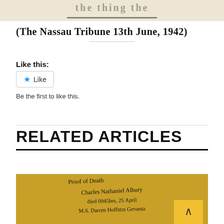[Figure (photo): Cropped newspaper image strip at top of page, appears to be scanned historical newspaper text]
(The Nassau Tribune 13th June, 1942)
Like this:
[Figure (screenshot): Like button widget with blue star icon and 'Like' text, followed by 'Be the first to like this.']
RELATED ARTICLES
[Figure (photo): Handwritten document on yellowish/gold paper reading 'Proof of Death, Charles Nathaniel Albury, Died 0945hrs, 25 April... M.S. Darren Hoffstra Geuanta...']